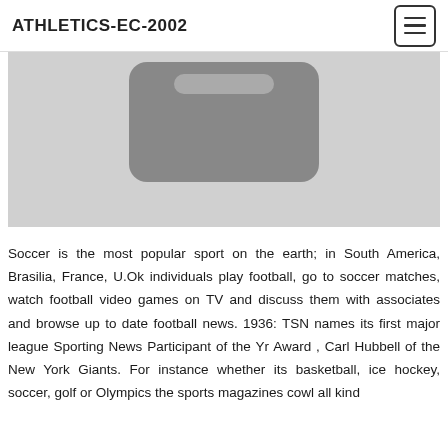ATHLETICS-EC-2002
[Figure (photo): Screenshot of a mobile app icon or device, shown with a dark rounded-rectangle shape on a light gray background]
Soccer is the most popular sport on the earth; in South America, Brasilia, France, U.Ok individuals play football, go to soccer matches, watch football video games on TV and discuss them with associates and browse up to date football news. 1936: TSN names its first major league Sporting News Participant of the Yr Award , Carl Hubbell of the New York Giants. For instance whether its basketball, ice hockey, soccer, golf or Olympics the sports magazines cowl all kind